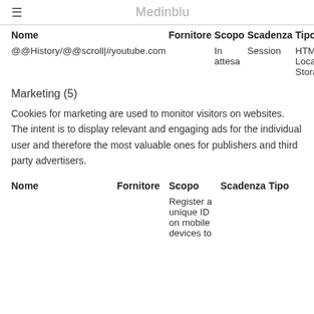Medinblu
| Nome | Fornitore | Scopo | Scadenza | Tipo |
| --- | --- | --- | --- | --- |
| @@History/@@scroll|#youtube.com |  | In attesa | Session | HTML Local Storage |
Marketing (5)
Cookies for marketing are used to monitor visitors on websites. The intent is to display relevant and engaging ads for the individual user and therefore the most valuable ones for publishers and third party advertisers.
| Nome | Fornitore | Scopo | Scadenza | Tipo |
| --- | --- | --- | --- | --- |
|  |  | Register a unique ID on mobile devices to |  |  |